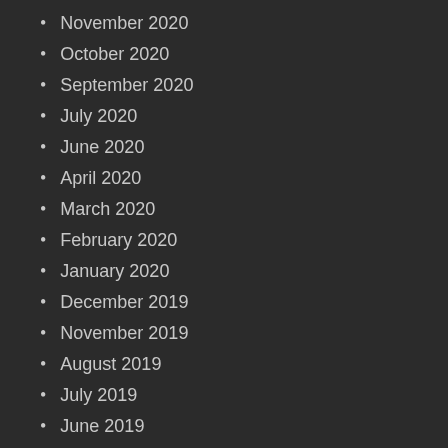November 2020
October 2020
September 2020
July 2020
June 2020
April 2020
March 2020
February 2020
January 2020
December 2019
November 2019
August 2019
July 2019
June 2019
May 2019
April 2019
March 2019